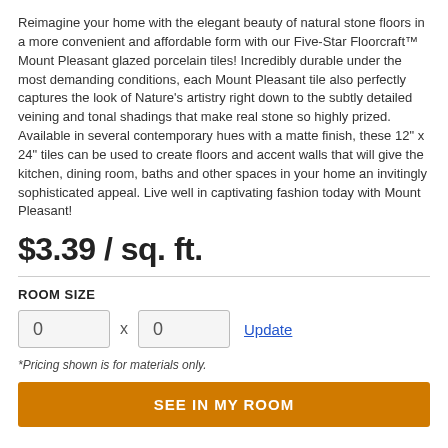Reimagine your home with the elegant beauty of natural stone floors in a more convenient and affordable form with our Five-Star Floorcraft™ Mount Pleasant glazed porcelain tiles! Incredibly durable under the most demanding conditions, each Mount Pleasant tile also perfectly captures the look of Nature's artistry right down to the subtly detailed veining and tonal shadings that make real stone so highly prized. Available in several contemporary hues with a matte finish, these 12" x 24" tiles can be used to create floors and accent walls that will give the kitchen, dining room, baths and other spaces in your home an invitingly sophisticated appeal. Live well in captivating fashion today with Mount Pleasant!
$3.39 / sq. ft.
ROOM SIZE
*Pricing shown is for materials only.
SEE IN MY ROOM